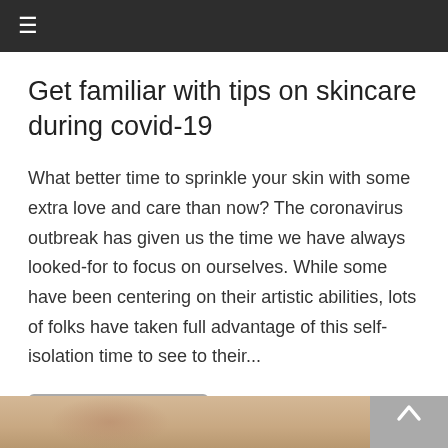≡
Get familiar with tips on skincare during covid-19
What better time to sprinkle your skin with some extra love and care than now? The coronavirus outbreak has given us the time we have always looked-for to focus on ourselves. While some have been centering on their artistic abilities, lots of folks have taken full advantage of this self-isolation time to see to their...
READ MORE
[Figure (photo): Bottom strip showing a partial image of skin or hands, warm beige/skin tone colors, partially cropped]